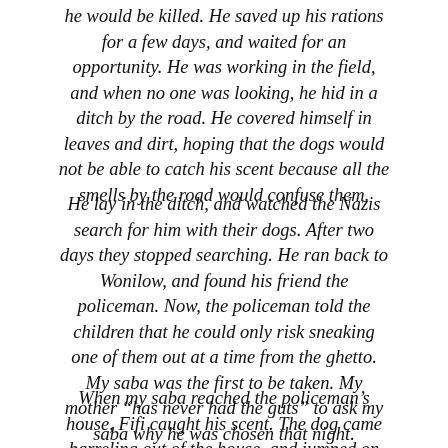he would be killed. He saved up his rations for a few days, and waited for an opportunity. He was working in the field, and when no one was looking, he hid in a ditch by the road. He covered himself in leaves and dirt, hoping that the dogs would not be able to catch his scent because all the smells by the road would confuse them.
He lay in the ditch, and watched the Nazis search for him with their dogs. After two days they stopped searching. He ran back to Wonilow, and found his friend the policeman. Now, the policeman told the children that he could only risk sneaking one of them out at a time from the ghetto. My saba was the first to be taken. My mother “has never had the guts” to ask my saba why he was chosen that night.
When my saba reached the policeman’s house, Fifi caught his scent. The dog came barreling out of the house, and jumped on my saba. As Fifi licked him, Mendel came